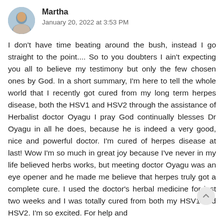Martha
January 20, 2022 at 3:53 PM
I don't have time beating around the bush, instead I go straight to the point.... So to you doubters I ain't expecting you all to believe my testimony but only the few chosen ones by God. In a short summary, I'm here to tell the whole world that I recently got cured from my long term herpes disease, both the HSV1 and HSV2 through the assistance of Herbalist doctor Oyagu I pray God continually blesses Dr Oyagu in all he does, because he is indeed a very good, nice and powerful doctor. I'm cured of herpes disease at last! Wow I'm so much in great joy because I've never in my life believed herbs works, but meeting doctor Oyagu was an eye opener and he made me believe that herpes truly got a complete cure. I used the doctor's herbal medicine for just two weeks and I was totally cured from both my HSV1 and HSV2. I'm so excited. For help and